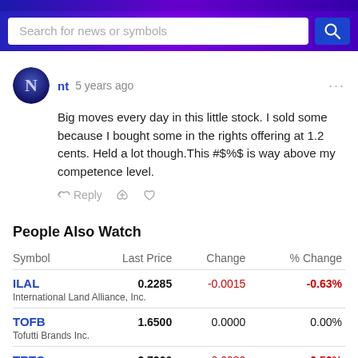Search for news or symbols
nt 5 years ago
Big moves every day in this little stock. I sold some because I bought some in the rights offering at 1.2 cents. Held a lot though.This #$%$ is way above my competence level.
People Also Watch
| Symbol | Last Price | Change | % Change |
| --- | --- | --- | --- |
| ILAL | 0.2285 | -0.0015 | -0.63% |
| International Land Alliance, Inc. |  |  |  |
| TOFB | 1.6500 | 0.0000 | 0.00% |
| Tofutti Brands Inc. |  |  |  |
| TRTC | 2.7260 | -0.0980 | -3.56% |